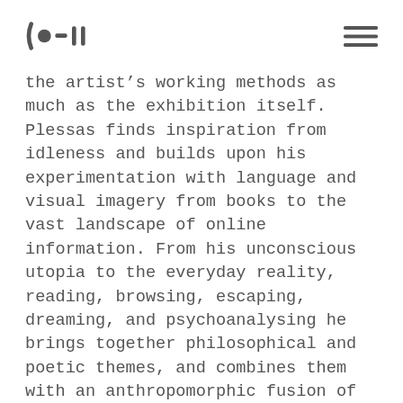[logo] [hamburger menu]
the artist's working methods as much as the exhibition itself. Plessas finds inspiration from idleness and builds upon his experimentation with language and visual imagery from books to the vast landscape of online information. From his unconscious utopia to the everyday reality, reading, browsing, escaping, dreaming, and psychoanalysing he brings together philosophical and poetic themes, and combines them with an anthropomorphic fusion of computer animation and self-made percussive sound effects. The